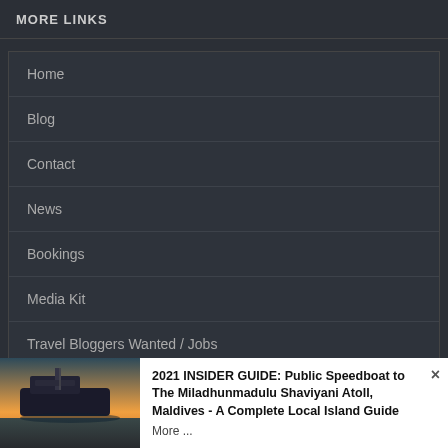MORE LINKS
Home
Blog
Contact
News
Bookings
Media Kit
Travel Bloggers Wanted / Jobs
[Figure (photo): Boat/speedboat at dusk or dawn, Maldives]
2021 INSIDER GUIDE: Public Speedboat to The Miladhunmadulu Shaviyani Atoll, Maldives - A Complete Local Island Guide
More ...